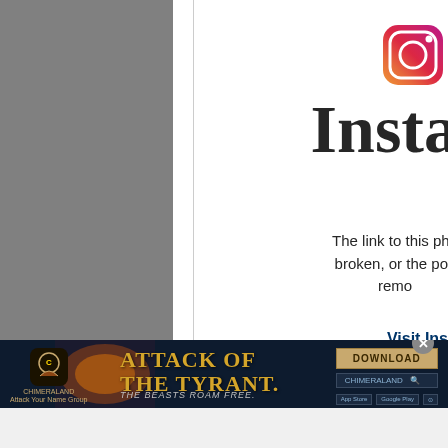[Figure (screenshot): Left grey panel representing a missing/broken image placeholder on Instagram]
[Figure (logo): Instagram logo icon (partially visible, top-right corner)]
Insta
The link to this photo or video may be broken, or the post may have been removed.
Visit Ins
[Figure (screenshot): Advertisement banner for Chimeraland game: ATTACK OF THE TYRANT. THE BEASTS ROAM FREE. with Download button and app store links]